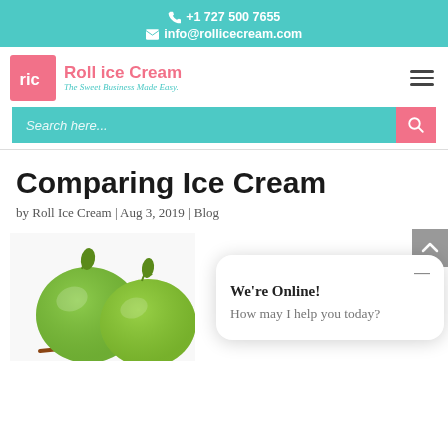📞 +1 727 500 7655 | ✉ info@rollicecream.com
[Figure (logo): Roll ice Cream logo with pink square containing 'ric' monogram, brand name 'Roll ice Cream' in pink and tagline 'The Sweet Business Made Easy.' in teal italic]
[Figure (infographic): Teal search bar with placeholder 'Search here...' and pink search button with magnifying glass icon]
Comparing Ice Cream
by Roll Ice Cream | Aug 3, 2019 | Blog
[Figure (photo): Two green Granny Smith apples with a wooden chopstick or stick in front, on white background]
[Figure (screenshot): Chat popup widget showing 'We're Online!' and 'How may I help you today?' messages on white rounded rectangle]